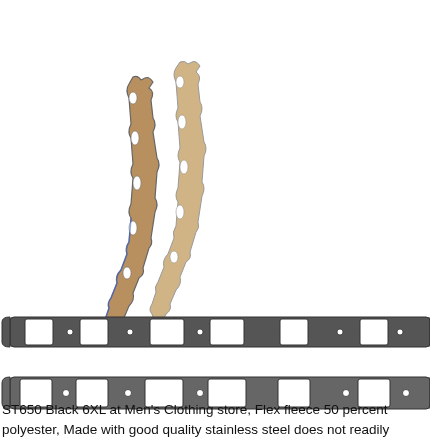[Figure (photo): Two thin elongated exhaust manifold gaskets shown at an angle, appearing metallic with tan/copper coloring and blue tint at bottom edge, with multiple port cutouts]
[Figure (photo): Two flat rectangular exhaust manifold gaskets shown horizontally, dark gray metallic color, with multiple square port openings and bolt holes along their length]
ST650 Black 6XL at Men's Clothing store, Flex fleece 50 percent polyester, Made with good quality stainless steel does not readily